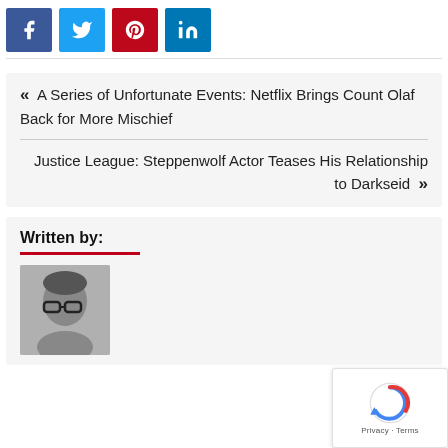[Figure (other): Social media share buttons: Facebook (blue), Twitter (light blue), Pinterest (red), LinkedIn (blue)]
« A Series of Unfortunate Events: Netflix Brings Count Olaf Back for More Mischief
Justice League: Steppenwolf Actor Teases His Relationship to Darkseid »
Written by:
[Figure (photo): Black and white author photo showing a person with glasses and short hair]